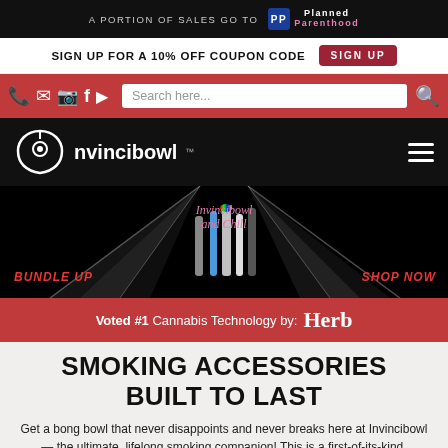A PORTION OF SALES GO TO [Planned Parenthood logo]
SIGN UP FOR A 10% OFF COUPON CODE  SIGN UP
[Figure (screenshot): Red navigation bar with phone, email, Instagram, Facebook, YouTube icons on left; search box in center; search icon on right]
[Figure (logo): Invincibowl logo on black bar with hamburger menu icon on right]
[Figure (photo): Hero banner with dark background, neon light beams, several bong products in center, 'Invincibowl and Chill' script text, 'BUNDLE UP' and 'SHOP NOW' red italic text on sides]
Voted #1 Cannabis Technology by: Herb
SMOKING ACCESSORIES BUILT TO LAST
Get a bong bowl that never disappoints and never breaks here at Invincibowl — the ultimate, lifelong smoking companion! This is a first-of-its-kind, groundbreaking addition to the world of bongs and smoking accessories. Never worry about tapping out your ash again! Invincibowl is made from aerospace-grade aluminum, fits